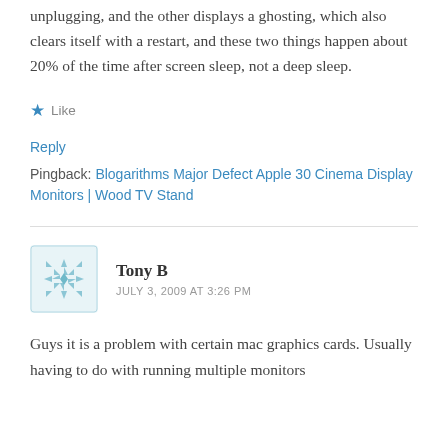unplugging, and the other displays a ghosting, which also clears itself with a restart, and these two things happen about 20% of the time after screen sleep, not a deep sleep.
★ Like
Reply
Pingback: Blogarithms Major Defect Apple 30 Cinema Display Monitors | Wood TV Stand
Tony B
JULY 3, 2009 AT 3:26 PM
Guys it is a problem with certain mac graphics cards. Usually having to do with running multiple monitors and an old OS. Setting up a static and/or dynamic...